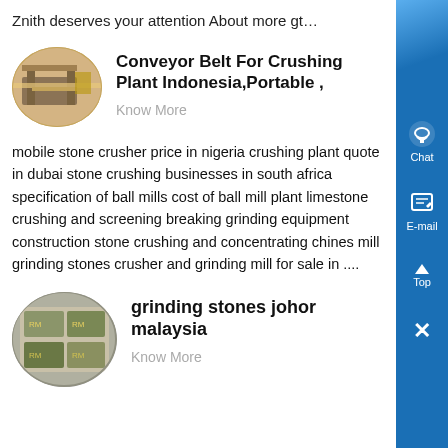Znith deserves your attention About more gt…
[Figure (photo): Oval thumbnail image of a crushing plant / conveyor belt structure in a desert setting]
Conveyor Belt For Crushing Plant Indonesia,Portable ,
Know More
mobile stone crusher price in nigeria crushing plant quote in dubai stone crushing businesses in south africa specification of ball mills cost of ball mill plant limestone crushing and screening breaking grinding equipment construction stone crushing and concentrating chines mill grinding stones crusher and grinding mill for sale in ....
[Figure (photo): Oval thumbnail image of grinding stones / currency notes from Malaysia (Johor)]
grinding stones johor malaysia
Know More